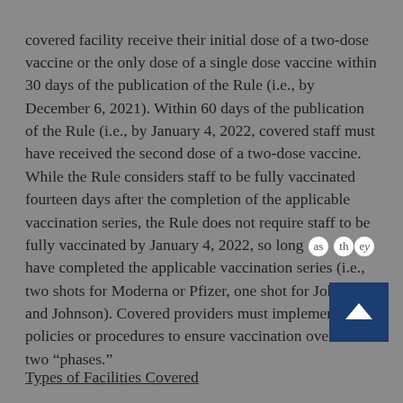covered facility receive their initial dose of a two-dose vaccine or the only dose of a single dose vaccine within 30 days of the publication of the Rule (i.e., by December 6, 2021).  Within 60 days of the publication of the Rule (i.e., by January 4, 2022, covered staff must have received the second dose of a two-dose vaccine.  While the Rule considers staff to be fully vaccinated fourteen days after the completion of the applicable vaccination series, the Rule does not require staff to be fully vaccinated by January 4, 2022, so long as they have completed the applicable vaccination series (i.e., two shots for Moderna or Pfizer, one shot for Johnson and Johnson).  Covered providers must implement policies or procedures to ensure vaccination over these two “phases.”
Types of Facilities Covered